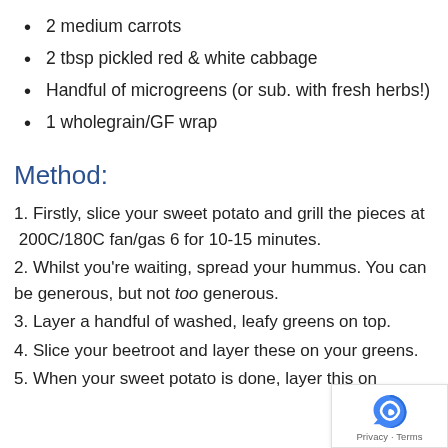2 medium carrots
2 tbsp pickled red & white cabbage
Handful of microgreens (or sub. with fresh herbs!)
1 wholegrain/GF wrap
Method:
1. Firstly, slice your sweet potato and grill the pieces at  200C/180C fan/gas 6 for 10-15 minutes.
2. Whilst you're waiting, spread your hummus. You can be generous, but not too generous.
3. Layer a handful of washed, leafy greens on top.
4. Slice your beetroot and layer these on your greens.
5. When your sweet potato is done, layer this on